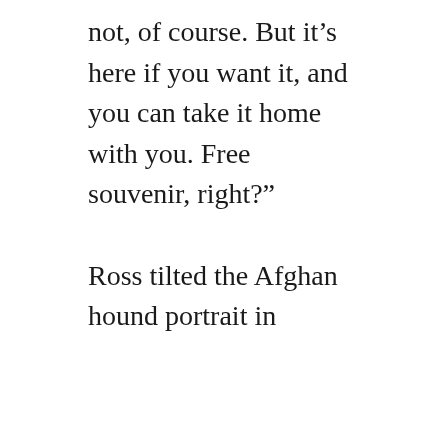not, of course. But it’s here if you want it, and you can take it home with you. Free souvenir, right?”
Ross tilted the Afghan hound portrait in